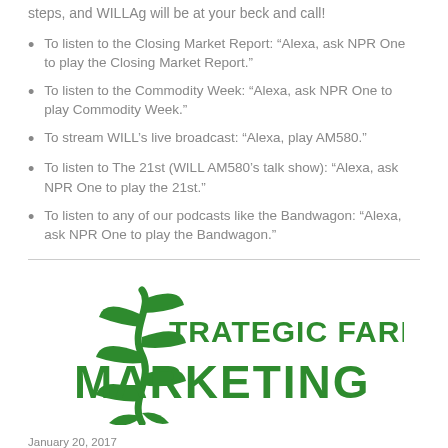steps, and WILLAg will be at your beck and call!
To listen to the Closing Market Report: “Alexa, ask NPR One to play the Closing Market Report.”
To listen to the Commodity Week: “Alexa, ask NPR One to play Commodity Week.”
To stream WILL’s live broadcast: “Alexa, play AM580.”
To listen to The 21st (WILL AM580’s talk show): “Alexa, ask NPR One to play the 21st.”
To listen to any of our podcasts like the Bandwagon: “Alexa, ask NPR One to play the Bandwagon.”
[Figure (logo): Strategic Farm Marketing logo with green corn plant graphic and green bold text reading STRATEGIC FARM MARKETING]
January 20, 2017